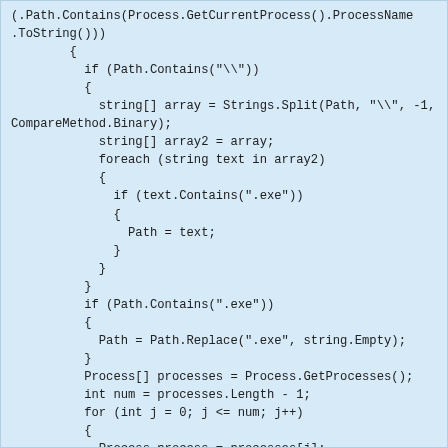[Figure (screenshot): A code block showing C# code for process detection. The code checks if a path contains backslashes, splits the path, finds .exe files, strips .exe extension, enumerates running processes, and checks if a process name contains the path.]